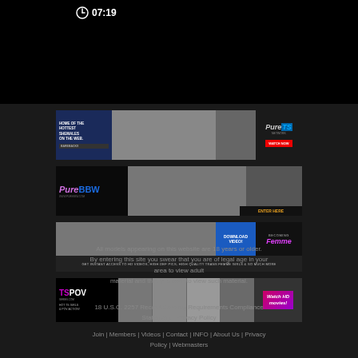[Figure (screenshot): Video player with timer showing 07:19 on black background]
[Figure (screenshot): PureTS adult website advertisement banner - Home of the Hottest Shemales on the Web, Watch Now]
[Figure (screenshot): PureBBW adult website advertisement banner - Enter Here]
[Figure (screenshot): Becoming Femme adult website advertisement - Download Video, Get Instant Access to HD Videos, High Def Pics, High Quality Trans Femme Girls & So Much More]
[Figure (screenshot): TSPOV adult website advertisement - Hot TS Girls & POV Action, Watch HD Movies]
All models appearing on this website are 18 years or older. By entering this site you swear that you are of legal age in your area to view adult material and that you wish to view such material.
18 U.S.C. 2257 Record-Keeping Requirements Compliance Statement | Privacy Policy
Join | Members | Videos | Contact | INFO | About Us | Privacy Policy | Webmasters